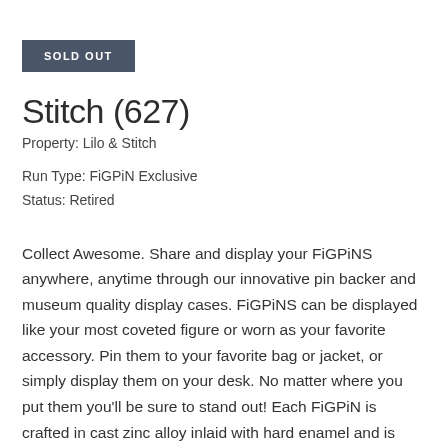SOLD OUT
Stitch (627)
Property: Lilo & Stitch
Run Type: FiGPiN Exclusive
Status: Retired
Collect Awesome. Share and display your FiGPiNS anywhere, anytime through our innovative pin backer and museum quality display cases. FiGPiNS can be displayed like your most coveted figure or worn as your favorite accessory. Pin them to your favorite bag or jacket, or simply display them on your desk. No matter where you put them you'll be sure to stand out! Each FiGPiN is crafted in cast zinc alloy inlaid with hard enamel and is finished